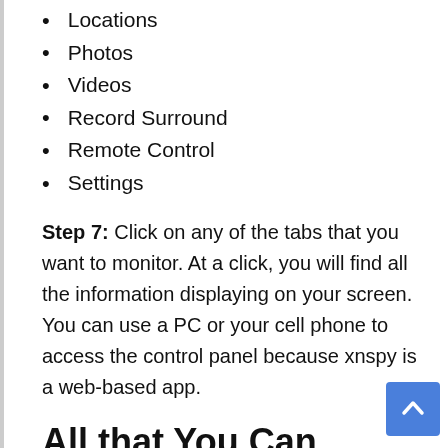Locations
Photos
Videos
Record Surround
Remote Control
Settings
Step 7: Click on any of the tabs that you want to monitor. At a click, you will find all the information displaying on your screen. You can use a PC or your cell phone to access the control panel because xnspy is a web-based app.
All that You Can Monitor from the Control Panel